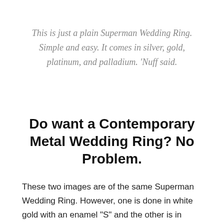This is just a plain Superman Wedding Ring.  Simple and easy. It comes in silver, gold, platinum, and palladium.  'Nuff said.
Do want a Contemporary Metal Wedding Ring? No Problem.
These two images are of the same Superman Wedding Ring.  However, one is done in white gold with an enamel "S" and the other is in titanium with the a laser engraved